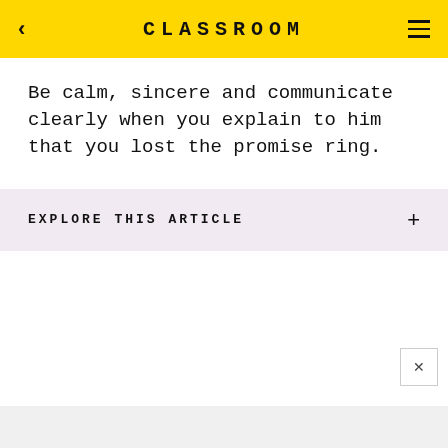CLASSROOM
Be calm, sincere and communicate clearly when you explain to him that you lost the promise ring.
EXPLORE THIS ARTICLE